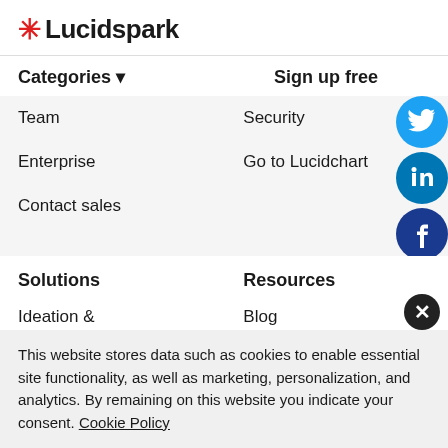[Figure (logo): Lucidspark logo with red asterisk star and bold black text 'Lucidspark']
Categories ▼
Sign up free
Team
Security
Enterprise
Go to Lucidchart
Contact sales
[Figure (illustration): Twitter (bird) social media icon - blue circle]
[Figure (illustration): LinkedIn social media icon - blue circle with 'in']
[Figure (illustration): Facebook social media icon - dark blue circle with 'f']
Solutions
Resources
Ideation & brainstorming
Blog
Templates
Teamwork &
This website stores data such as cookies to enable essential site functionality, as well as marketing, personalization, and analytics. By remaining on this website you indicate your consent. Cookie Policy